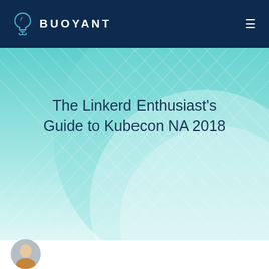BUOYANT
The Linkerd Enthusiast's Guide to Kubecon NA 2018
[Figure (photo): Partially visible circular avatar/headshot photo at bottom left of page]